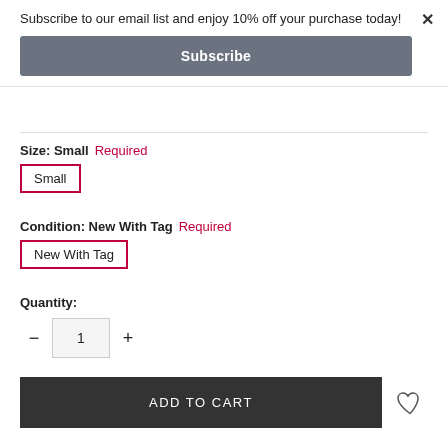Subscribe to our email list and enjoy 10% off your purchase today!
Subscribe
×
Size: Small  Required
Small
Condition: New With Tag  Required
New With Tag
Quantity:
1
ADD TO CART